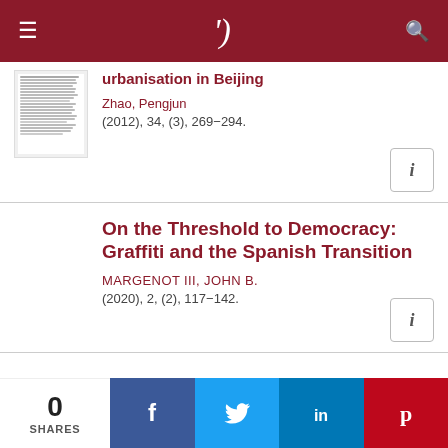urbanisation in Beijing
Zhao, Pengjun
(2012), 34, (3), 269−294.
On the Threshold to Democracy: Graffiti and the Spanish Transition
MARGENOT III, JOHN B.
(2020), 2, (2), 117−142.
0 SHARES